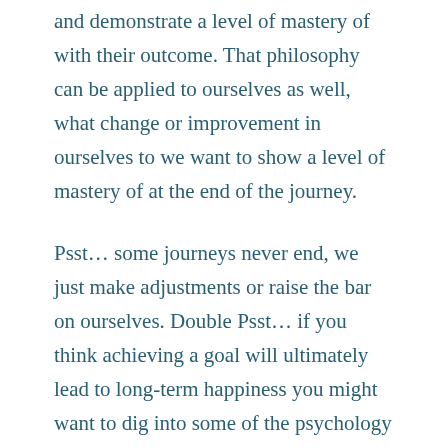and demonstrate a level of mastery of with their outcome. That philosophy can be applied to ourselves as well, what change or improvement in ourselves to we want to show a level of mastery of at the end of the journey.
Psst… some journeys never end, we just make adjustments or raise the bar on ourselves. Double Psst… if you think achieving a goal will ultimately lead to long-term happiness you might want to dig into some of the psychology behind why we cannot always be 'happy.'
How to figure out what